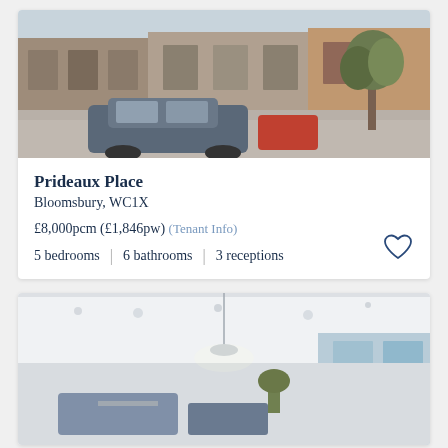[Figure (photo): Exterior photo of a Victorian terraced house on Prideaux Place, Bloomsbury. A dark blue/grey car is parked in front on a residential street with brick townhouses and a tree visible.]
Prideaux Place
Bloomsbury, WC1X
£8,000pcm (£1,846pw) (Tenant Info)
5 bedrooms | 6 bathrooms | 3 receptions
[Figure (photo): Interior photo of a modern bright open-plan living space with large floor-to-ceiling windows, white ceiling with recessed lighting, and contemporary furnishings visible in the background.]